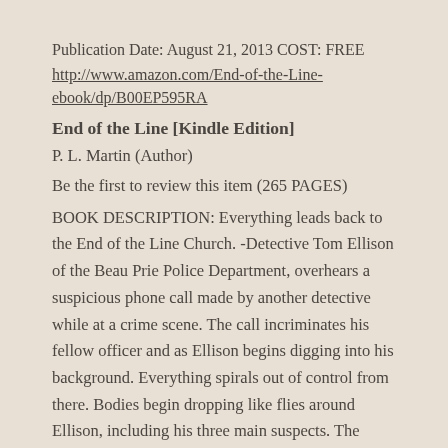Publication Date: August 21, 2013 COST: FREE
http://www.amazon.com/End-of-the-Line-ebook/dp/B00EP595RA
End of the Line [Kindle Edition]
P. L. Martin (Author)
Be the first to review this item (265 PAGES)
BOOK DESCRIPTION: Everything leads back to the End of the Line Church. -Detective Tom Ellison of the Beau Prie Police Department, overhears a suspicious phone call made by another detective while at a crime scene. The call incriminates his fellow officer and as Ellison begins digging into his background. Everything spirals out of control from there. Bodies begin dropping like flies around Ellison, including his three main suspects. The